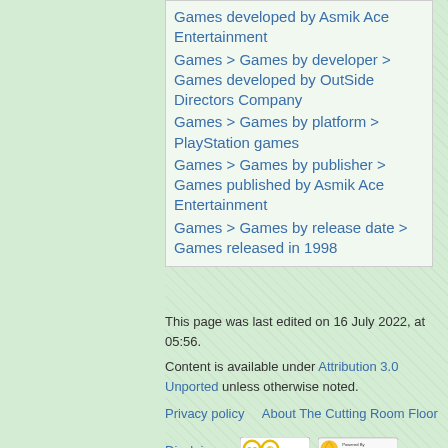Games developed by Asmik Ace Entertainment
Games > Games by developer > Games developed by OutSide Directors Company
Games > Games by platform > PlayStation games
Games > Games by publisher > Games published by Asmik Ace Entertainment
Games > Games by release date > Games released in 1998
This page was last edited on 16 July 2022, at 05:56.
Content is available under Attribution 3.0 Unported unless otherwise noted.
Privacy policy   About The Cutting Room Floor
Disclaimers
[Figure (logo): Creative Commons Attribution license badge]
[Figure (logo): Powered by MediaWiki badge]